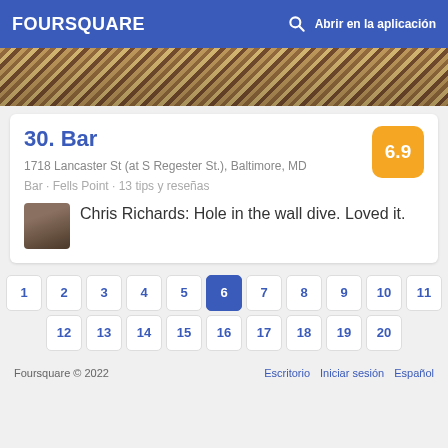FOURSQUARE  Abrir en la aplicación
[Figure (photo): Partial photo of a bar interior showing wooden beams or woven/straw material]
30. Bar
1718 Lancaster St (at S Regester St.), Baltimore, MD
Bar · Fells Point · 13 tips y reseñas
Chris Richards: Hole in the wall dive. Loved it.
1
2
3
4
5
6
7
8
9
10
11
12
13
14
15
16
17
18
19
20
Foursquare © 2022   Escritorio  Iniciar sesión  Español